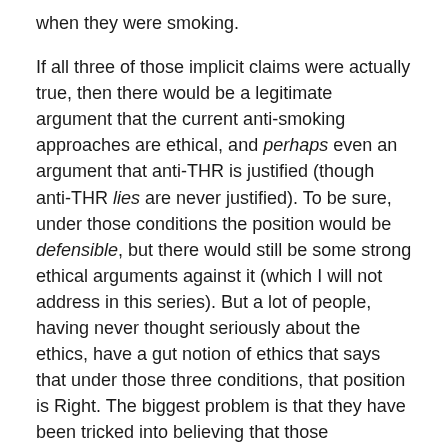when they were smoking.
If all three of those implicit claims were actually true, then there would be a legitimate argument that the current anti-smoking approaches are ethical, and perhaps even an argument that anti-THR is justified (though anti-THR lies are never justified).  To be sure, under those conditions the position would be defensible, but there would still be some strong ethical arguments against it (which I will not address in this series).  But a lot of people, having never thought seriously about the ethics, have a gut notion of ethics that says that under those three conditions, that position is Right.  The biggest problem is that they have been tricked into believing that those conditions are met, and that is optimal point of response.
And with that, I have to leave the issue of how to try to un-